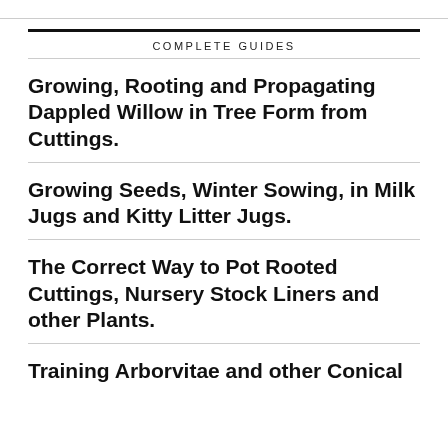COMPLETE GUIDES
Growing, Rooting and Propagating Dappled Willow in Tree Form from Cuttings.
Growing Seeds, Winter Sowing, in Milk Jugs and Kitty Litter Jugs.
The Correct Way to Pot Rooted Cuttings, Nursery Stock Liners and other Plants.
Training Arborvitae and other Conical